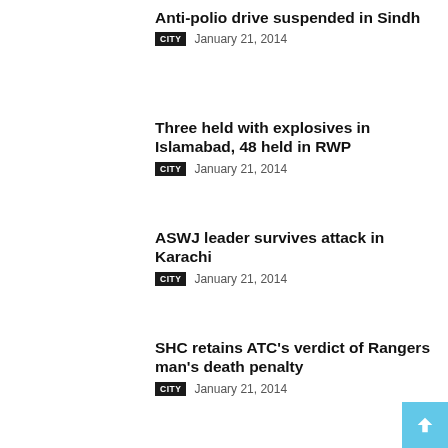Anti-polio drive suspended in Sindh
CITY  January 21, 2014
Three held with explosives in Islamabad, 48 held in RWP
CITY  January 21, 2014
ASWJ leader survives attack in Karachi
CITY  January 21, 2014
SHC retains ATC's verdict of Rangers man's death penalty
CITY  January 21, 2014